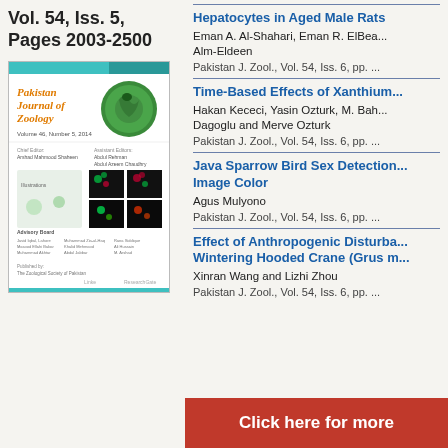Vol. 54, Iss. 5, Pages 2003-2500
[Figure (illustration): Cover of Pakistan Journal of Zoology, Volume 46, Number 5, 2017, showing journal title in orange, a green circular logo with a snake, microscopy images, and editorial board information.]
Hepatocytes in Aged Male Rats
Eman A. Al-Shahari, Eman R. ElBea... Alm-Eldeen
Pakistan J. Zool., Vol. 54, Iss. 6, pp. ...
Time-Based Effects of Xanthium...
Hakan Kececi, Yasin Ozturk, M. Bah... Dagoglu and Merve Ozturk
Pakistan J. Zool., Vol. 54, Iss. 6, pp. ...
Java Sparrow Bird Sex Detection... Image Color
Agus Mulyono
Pakistan J. Zool., Vol. 54, Iss. 6, pp. ...
Effect of Anthropogenic Disturba... Wintering Hooded Crane (Grus m...
Xinran Wang and Lizhi Zhou
Pakistan J. Zool., Vol. 54, Iss. 6, pp. ...
Click here for more